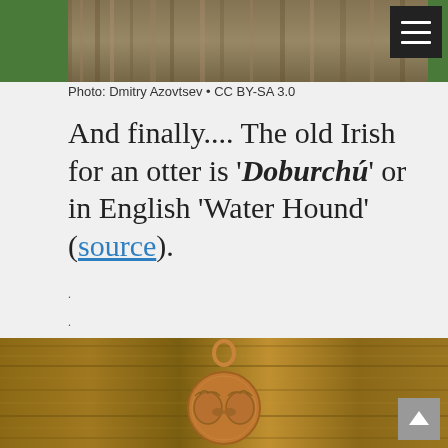[Figure (photo): Close-up photo of a furry animal (otter) against a green background, cropped at top of page]
Photo: Dmitry Azovtsev • CC BY-SA 3.0
And finally.... The old Irish for an otter is 'Doburchú' or in English 'Water Hound' (source).
.
.
[Figure (photo): Close-up photo of a bronze/copper animal pendant (lion or hound heads) on a wooden surface]